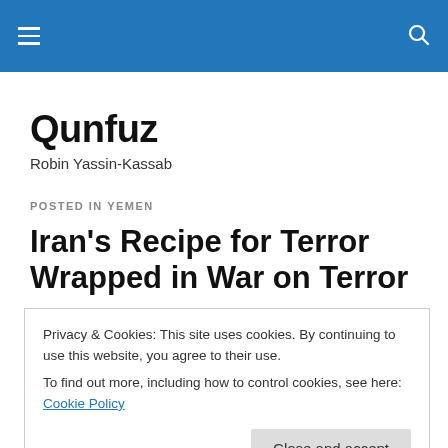Qunfuz – navigation bar with hamburger menu and search icon
Qunfuz
Robin Yassin-Kassab
POSTED IN YEMEN
Iran's Recipe for Terror Wrapped in War on Terror
Privacy & Cookies: This site uses cookies. By continuing to use this website, you agree to their use.
To find out more, including how to control cookies, see here: Cookie Policy
Close and accept